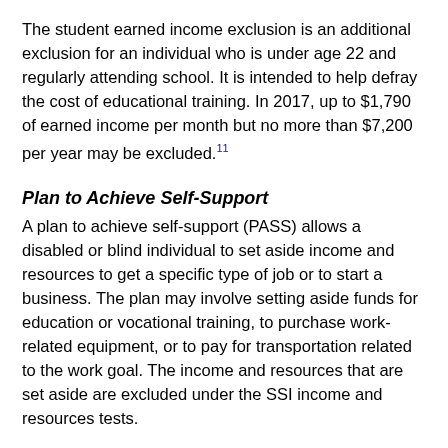The student earned income exclusion is an additional exclusion for an individual who is under age 22 and regularly attending school. It is intended to help defray the cost of educational training. In 2017, up to $1,790 of earned income per month but no more than $7,200 per year may be excluded.[11]
Plan to Achieve Self-Support
A plan to achieve self-support (PASS) allows a disabled or blind individual to set aside income and resources to get a specific type of job or to start a business. The plan may involve setting aside funds for education or vocational training, to purchase work-related equipment, or to pay for transportation related to the work goal. The income and resources that are set aside are excluded under the SSI income and resources tests.
The individual must have a feasible work goal and a specific savings or spending plan. The individual also must provide a clearly identifiable accounting for the funds that are set aside. The PASS is time limited and must be approved by SSA. The individual must then follow the plan and negotiate revisions as needed. SSA monitors the approved plan by reviewing it periodically to ensure the individual's progress toward attaining